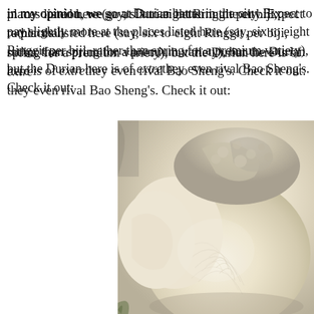in my opinion, we go at Durian better in the city. Expect to pay slightly more at the places listed here (say, six to eight Ringgit per biji, rather than spring for a premium variety), but the Durian here is of extremely high quality – they even rival Bao Sheng's. Check it out:
[Figure (photo): Close-up photograph of opened durian fruit showing creamy pale yellow-white flesh with fibrous texture against a light background]